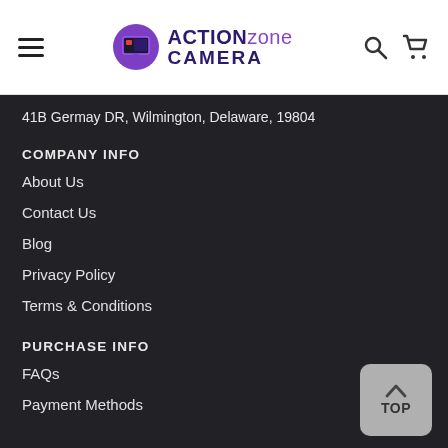Action Zone Camera — navigation bar with hamburger menu, logo, search and cart icons
41B Germay DR, Wilmington, Delaware, 19804
COMPANY INFO
About Us
Contact Us
Blog
Privacy Policy
Terms & Conditions
PURCHASE INFO
FAQs
Payment Methods